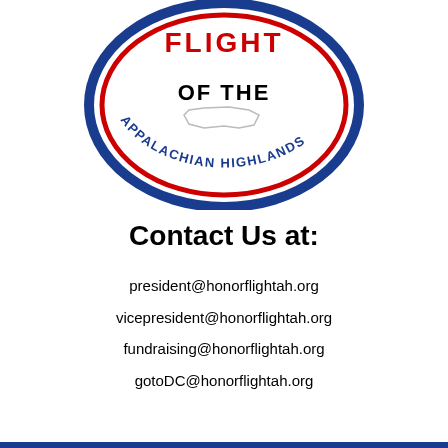[Figure (logo): Honor Flight of the Appalachian Highlands circular logo — oval badge with blue outer ring bearing 'APPALACHIAN HIGHLANDS' text, red inner ring, black 'FLIGHT' text at top, 'OF THE' in bold black below, state outline in center, red/white/blue color scheme]
Contact Us at:
president@honorflightah.org
vicepresident@honorflightah.org
fundraising@honorflightah.org
gotoDC@honorflightah.org